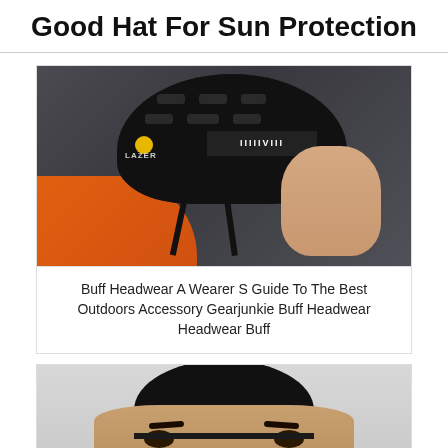Good Hat For Sun Protection
[Figure (photo): Side profile of a male cyclist wearing a black Lazer brand cycling helmet with yellow accents and a buff headwear underneath, wearing an orange jersey. Gray background.]
Buff Headwear A Wearer S Guide To The Best Outdoors Accessory Gearjunkie Buff Headwear Headwear Buff
[Figure (photo): Close-up of a man wearing a black skull cap/beanie, showing his face from the forehead down with brown eyes visible.]